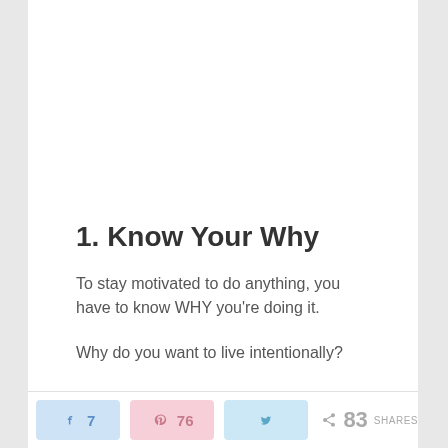1. Know Your Why
To stay motivated to do anything, you have to know WHY you're doing it.
Why do you want to live intentionally?
I hope it's not so you can be a better person, be